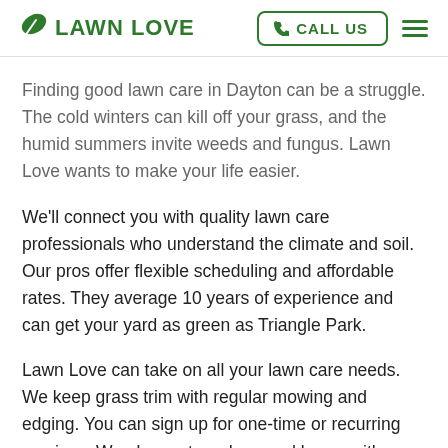LAWN LOVE | CALL US
Finding good lawn care in Dayton can be a struggle. The cold winters can kill off your grass, and the humid summers invite weeds and fungus. Lawn Love wants to make your life easier.
We'll connect you with quality lawn care professionals who understand the climate and soil. Our pros offer flexible scheduling and affordable rates. They average 10 years of experience and can get your yard as green as Triangle Park.
Lawn Love can take on all your lawn care needs. We keep grass trim with regular mowing and edging. You can sign up for one-time or recurring services. We also restore damaged lawns with fertilization and aeration. Our pros eliminate bald patches with over-seeding. We also control weeds to keep out crabgrass and other